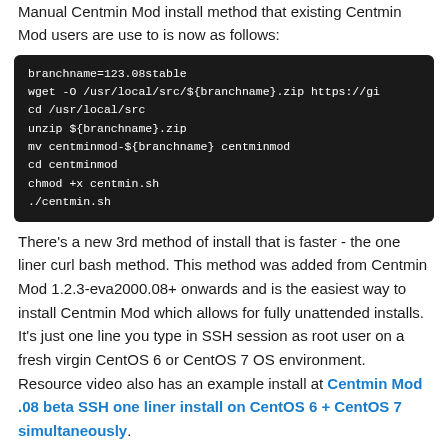Manual Centmin Mod install method that existing Centmin Mod users are use to is now as follows:
branchname=123.08stable
wget -O /usr/local/src/${branchname}.zip https://gi
cd /usr/local/src
unzip ${branchname}.zip
mv centminmod-${branchname} centminmod
cd centminmod
chmod +x centmin.sh
./centmin.sh
There's a new 3rd method of install that is faster - the one liner curl bash method. This method was added from Centmin Mod 1.2.3-eva2000.08+ onwards and is the easiest way to install Centmin Mod which allows for fully unattended installs. It's just one line you type in SSH session as root user on a fresh virgin CentOS 6 or CentOS 7 OS environment. Resource video also has an example install at Centmin Mod .08 beta SSH one liner install on CentOS 6 + CentOS 7 simultaneously.
curl -sL http://centmin.sh/installer.sh | bash